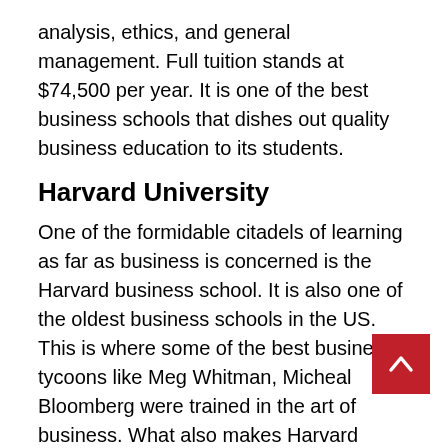analysis, ethics, and general management. Full tuition stands at $74,500 per year. It is one of the best business schools that dishes out quality business education to its students.
Harvard University
One of the formidable citadels of learning as far as business is concerned is the Harvard business school. It is also one of the oldest business schools in the US. This is where some of the best business tycoons like Meg Whitman, Micheal Bloomberg were trained in the art of business. What also makes Harvard stand out among the committee of schools is the experiential approach employed for teaching students.
Kellogg school of